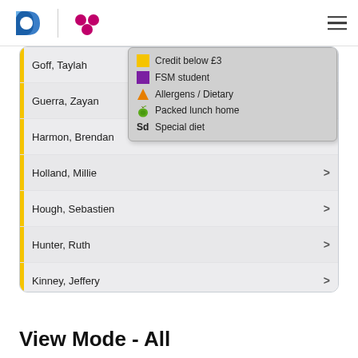[Figure (screenshot): Student list UI with yellow indicator bars, student names (Goff Taylah, Guerra Zayan, Harmon Brendan, Holland Millie, Hough Sebastien, Hunter Ruth, Kinney Jeffery, Lancaster Emilija), a legend popup showing: Credit below £3 (yellow), FSM student (purple), Allergens/Dietary (orange triangle), Packed lunch home (apple icon), Special diet (Sd), and chevron arrows on right.]
View Mode - All